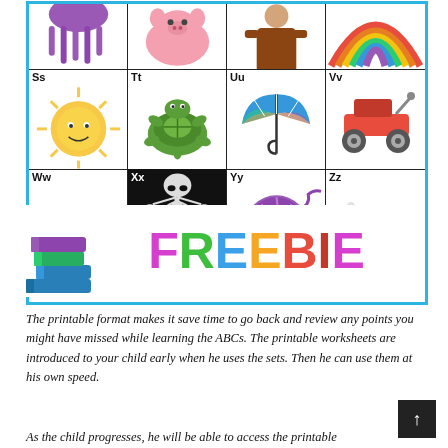[Figure (illustration): Alphabet chart showing letters Ss through Zz with corresponding pictures: Ss (sun), Tt (turtle), Uu (umbrella), Vv (wagon/scooter), Ww (watermelon), Xx (x-ray), Yy (yarn), Zz (zebra). Top row shows partial images for letters above S. Below the grid is a colorful FREEBIE banner with books illustration on the left.]
The printable format makes it save time to go back and review any points you might have missed while learning the ABCs. The printable worksheets are introduced to your child early when he uses the sets. Then he can use them at his own speed.
As the child progresses, he will be able to access the printable